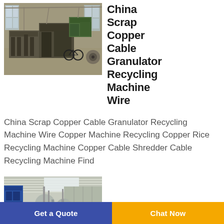[Figure (photo): Industrial factory interior with heavy machinery, metal frames, and large windows letting in light. Scrap metal processing facility.]
China Scrap Copper Cable Granulator Recycling Machine Wire
China Scrap Copper Cable Granulator Recycling Machine Wire Copper Machine Recycling Copper Rice Recycling Machine Copper Cable Shredder Cable Recycling Machine Find
[Figure (photo): Industrial recycling facility interior with blue machinery, large tanks, and piping. Workers visible near equipment under a bright corrugated roof.]